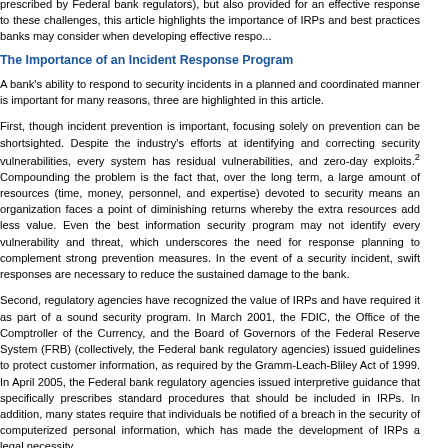prescribed by Federal bank regulators), but also provided for an effective response to these challenges, this article highlights the importance of IRPs and best practices banks may consider when developing effective respo...
The Importance of an Incident Response Program
A bank's ability to respond to security incidents in a planned and coordinated manner is important for many reasons, three are highlighted in this article.
First, though incident prevention is important, focusing solely on prevention... industry's efforts at identifying and correcting security vulnerabilities, even vulnerabilities, and zero-day exploits.2 Compounding the problem is the term, a large amount of resources (time, money, personnel, and expertise) an organization faces a point of diminishing returns whereby the extra resources best information security program may not identify every vulnerability and response planning to complement strong prevention measures. In the event, are necessary to reduce the sustained damage to the bank.
Second, regulatory agencies have recognized the value of IRPs and have required it as part of a sound information security program. In March 2001, the FDIC, the Office of the Comptroller, and the Board of Governors of the Federal Reserve System (FRB) (collectively, the Federal bank regulatory agencies) issued guidelines for protecting customer information, as required by the Gramm-Leach-Bliley Act of 1999. In April 2005, the Federal bank regulatory agencies issued interpretive guidance that specifically prescribes standard procedures that should be included in IRPs. In addition, many states require that individuals be notified of a breach in the security of computerized personal information. This has made the development of IRPs a legal necessity.
Finally, IRPs are in the best interests of the bank. A well-developed IRP benefits the bank in a variety of ways. Perhaps most important, IRPs help the bank contain the incident. Swift and decisive action can also limit the harm to the bank's reputation, reduce risk, and help the bank learn from a security incident so that mistakes are not destined to be repeated.
Elements of an Incident Response Program